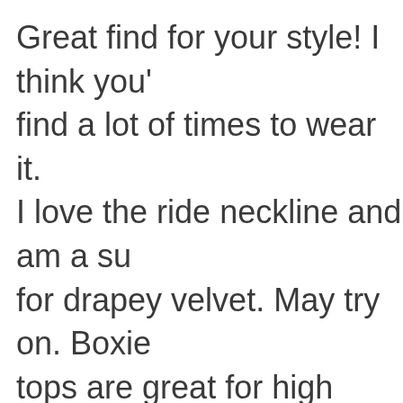Great find for your style! I think you'll find a lot of times to wear it. I love the ride neckline and am a sucker for drapey velvet. May try on. Boxie tops are great for high waisted dresses, skirts and pants, though this one may be TOO short for my long torso..
4 years ago